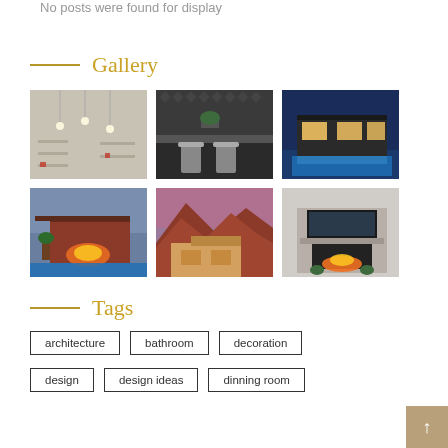No posts were found for display
Gallery
[Figure (photo): Interior room with pendant lights and shelving]
[Figure (photo): Modern dark kitchen with bar stools]
[Figure (photo): Modern house exterior at night with pool and blue lighting]
[Figure (photo): Outdoor patio with fireplace and pool at dusk]
[Figure (photo): House with mountain/desert landscape backdrop]
[Figure (photo): Living room with fireplace and TV above mantle]
Tags
architecture
bathroom
decoration
design
design ideas
dinning room